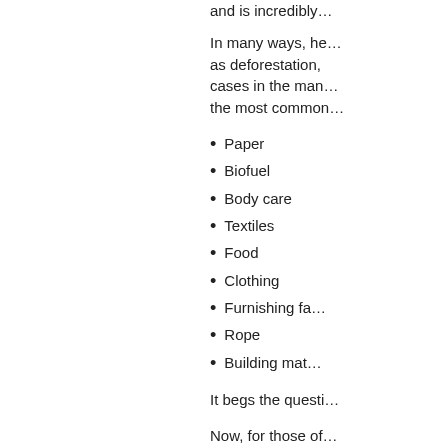and is incredibly...
In many ways, he... as deforestation, cases in the man... the most common...
Paper
Biofuel
Body care
Textiles
Food
Clothing
Furnishing fa...
Rope
Building mat...
It begs the questi...
Now, for those of... same plant from t... psychoactive com...